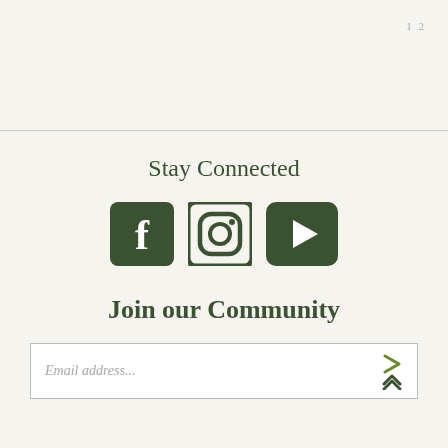1 2
Stay Connected
[Figure (illustration): Three social media icons in dark green: Facebook (f), Instagram (camera/circle), and YouTube (play button rectangle)]
Join our Community
Email address...